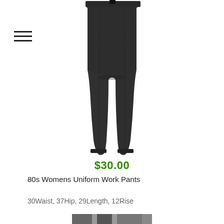[Figure (photo): Black women's uniform work pants laid flat on white background, wide-leg cropped style with a waistband and front pleat.]
$30.00
80s Womens Uniform Work Pants
30Waist, 37Hip, 29Length, 12Rise
[Figure (photo): Thumbnail of another garment, partially visible at the bottom of the page.]